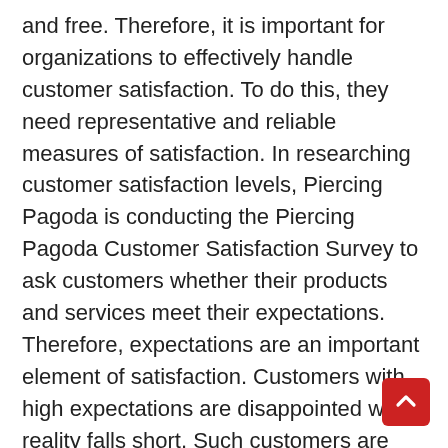and free. Therefore, it is important for organizations to effectively handle customer satisfaction. To do this, they need representative and reliable measures of satisfaction. In researching customer satisfaction levels, Piercing Pagoda is conducting the Piercing Pagoda Customer Satisfaction Survey to ask customers whether their products and services meet their expectations. Therefore, expectations are an important element of satisfaction. Customers with high expectations are disappointed when reality falls short. Such customers are likely to rare their shopping experiences as less than satisfying.
Customer satisfaction provides a key indicator of customer loyalty and repurchases. Businesses need to retain current customers while targeting potential customers. Measuring satisfaction levels provides an idea of how successful the business is at offering